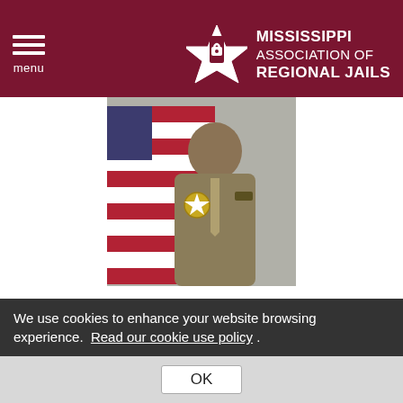Mississippi Association of Regional Jails
[Figure (photo): Profile photo of Clint Walker, a law enforcement officer in tan/olive uniform with gold sheriff star badge, standing in front of an American flag]
Clint Walker
Carroll County
PO Box 291
Carrollton, MS 38917
Phone: 662-237-9283
We use cookies to enhance your website browsing experience.  Read our cookie use policy .
OK